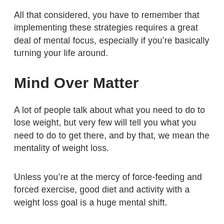All that considered, you have to remember that implementing these strategies requires a great deal of mental focus, especially if you’re basically turning your life around.
Mind Over Matter
A lot of people talk about what you need to do to lose weight, but very few will tell you what you need to do to get there, and by that, we mean the mentality of weight loss.
Unless you’re at the mercy of force-feeding and forced exercise, good diet and activity with a weight loss goal is a huge mental shift.